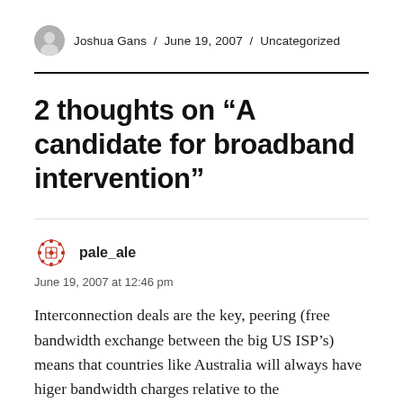Joshua Gans / June 19, 2007 / Uncategorized
2 thoughts on “A candidate for broadband intervention”
pale_ale
June 19, 2007 at 12:46 pm
Interconnection deals are the key, peering (free bandwidth exchange between the big US ISP’s) means that countries like Australia will always have higer bandwidth charges relative to the